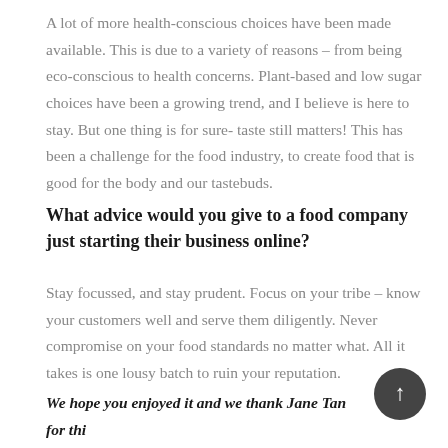A lot of more health-conscious choices have been made available. This is due to a variety of reasons – from being eco-conscious to health concerns. Plant-based and low sugar choices have been a growing trend, and I believe is here to stay. But one thing is for sure- taste still matters! This has been a challenge for the food industry, to create food that is good for the body and our tastebuds.
What advice would you give to a food company just starting their business online?
Stay focussed, and stay prudent. Focus on your tribe – know your customers well and serve them diligently. Never compromise on your food standards no matter what. All it takes is one lousy batch to ruin your reputation.
We hope you enjoyed it and we thank Jane Tan for this interesting interview.